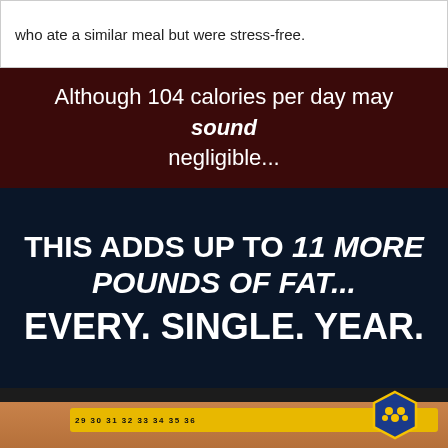who ate a similar meal but were stress-free.
Although 104 calories per day may sound negligible...
THIS ADDS UP TO 11 MORE POUNDS OF FAT... EVERY. SINGLE. YEAR.
[Figure (photo): Person's midsection with a yellow tape measure wrapped around the waist, with a blue and gold badge/logo overlaid in the upper right. Numbers visible on tape measure: 29, 30, 31, 32, 33, 34, 35, 36, 7, 8, 9, 10, 11.]